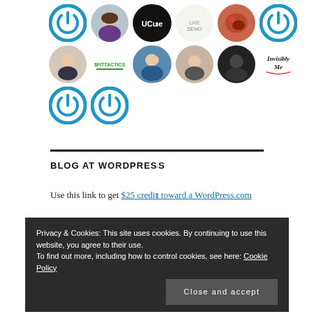[Figure (other): Grid of circular avatar icons including power button icons, profile photos, logos (FITTACTICS, Invisibly Me, UCue, etc.) arranged in three rows]
BLOG AT WORDPRESS
Use this link to get $25 credit toward a WordPress.com
Privacy & Cookies: This site uses cookies. By continuing to use this website, you agree to their use. To find out more, including how to control cookies, see here: Cookie Policy
Close and accept